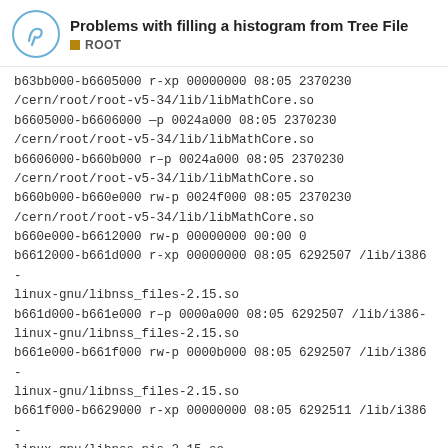Problems with filling a histogram from Tree File — ROOT
b63bb000-b6605000 r-xp 00000000 08:05 2370230 /cern/root/root-v5-34/lib/libMathCore.so
b6605000-b6606000 —p 0024a000 08:05 2370230 /cern/root/root-v5-34/lib/libMathCore.so
b6606000-b660b000 r–p 0024a000 08:05 2370230 /cern/root/root-v5-34/lib/libMathCore.so
b660b000-b660e000 rw-p 0024f000 08:05 2370230 /cern/root/root-v5-34/lib/libMathCore.so
b660e000-b6612000 rw-p 00000000 00:00 0
b6612000-b661d000 r-xp 00000000 08:05 6292507 /lib/i386-linux-gnu/libnss_files-2.15.so
b661d000-b661e000 r–p 0000a000 08:05 6292507 /lib/i386-linux-gnu/libnss_files-2.15.so
b661e000-b661f000 rw-p 0000b000 08:05 6292507 /lib/i386-linux-gnu/libnss_files-2.15.so
b661f000-b6629000 r-xp 00000000 08:05 6292511 /lib/i386-linux-gnu/libnss_nis-2.15.so
b6629000-b662a000 r–p 00009000 08:05 linux-gnu/libnss_nis-2.15.so
1 / 9